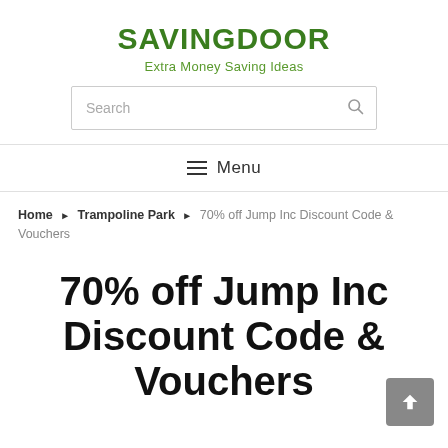SAVINGDOOR
Extra Money Saving Ideas
Search
Menu
Home ▶ Trampoline Park ▶ 70% off Jump Inc Discount Code & Vouchers
70% off Jump Inc Discount Code & Vouchers